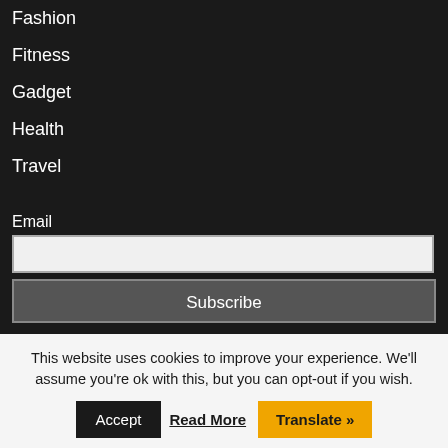Fashion
Fitness
Gadget
Health
Travel
Email
Social Media
This website uses cookies to improve your experience. We'll assume you're ok with this, but you can opt-out if you wish.
Accept
Read More
Translate »